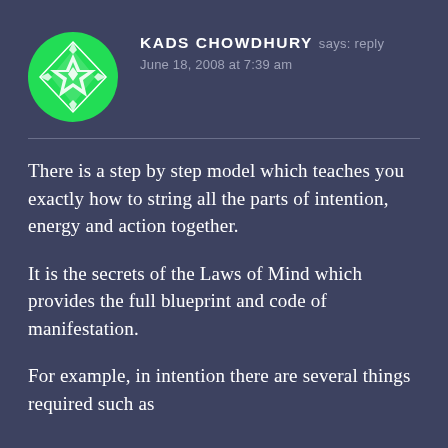[Figure (illustration): Circular green avatar with a white geometric star/snowflake pattern inside]
KADS CHOWDHURY says: reply
June 18, 2008 at 7:39 am
There is a step by step model which teaches you exactly how to string all the parts of intention, energy and action together.
It is the secrets of the Laws of Mind which provides the full blueprint and code of manifestation.
For example, in intention there are several things required such as